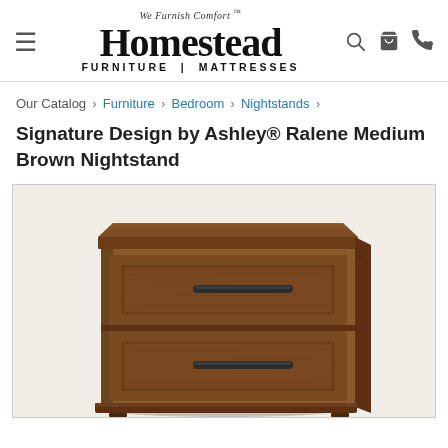We Furnish Comfort™ Homestead FURNITURE | MATTRESSES
Our Catalog › Furniture › Bedroom › Nightstands ›
Signature Design by Ashley® Ralene Medium Brown Nightstand
[Figure (photo): Photo of a medium brown wooden nightstand with two drawers, each with a dark horizontal bar pull handle. The nightstand has a traditional craftsman style with panel detailing on the drawer fronts. Photographed on a white background.]